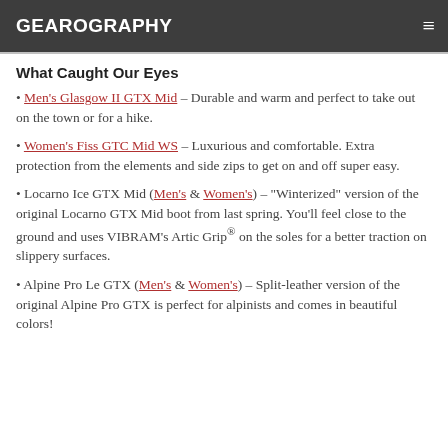GEAROGRAPHY
What Caught Our Eyes
Men's Glasgow II GTX Mid – Durable and warm and perfect to take out on the town or for a hike.
Women's Fiss GTC Mid WS – Luxurious and comfortable. Extra protection from the elements and side zips to get on and off super easy.
Locarno Ice GTX Mid (Men's & Women's) – "Winterized" version of the original Locarno GTX Mid boot from last spring. You'll feel close to the ground and uses VIBRAM's Artic Grip® on the soles for a better traction on slippery surfaces.
Alpine Pro Le GTX (Men's & Women's) – Split-leather version of the original Alpine Pro GTX is perfect for alpinists and comes in beautiful colors!